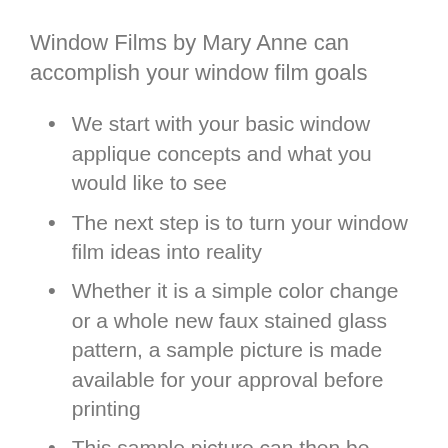Window Films by Mary Anne can accomplish your window film goals
We start with your basic window applique concepts and what you would like to see
The next step is to turn your window film ideas into reality
Whether it is a simple color change or a whole new faux stained glass pattern, a sample picture is made available for your approval before printing
This sample picture can then be printed out and shown at your committee meeting